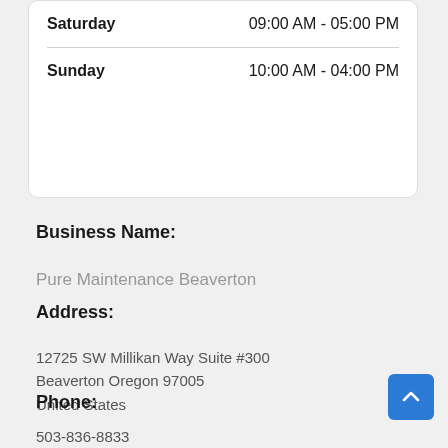| Day | Hours |
| --- | --- |
| Saturday | 09:00 AM - 05:00 PM |
| Sunday | 10:00 AM - 04:00 PM |
Business Name:
Pure Maintenance Beaverton
Address:
12725 SW Millikan Way Suite #300
Beaverton Oregon 97005
United States
Phone:
503-836-8833